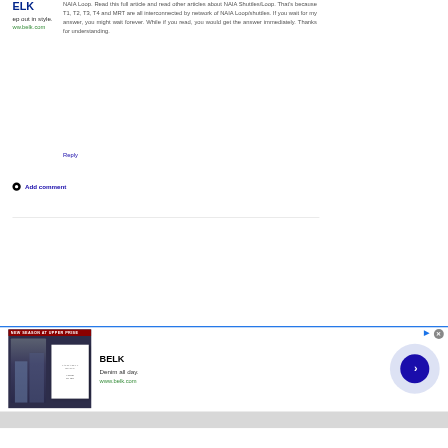NAIA Loop. Read this full article and read other articles about NAIA Shuttles/Loop. That's because T1, T2, T3, T4 and MRT are all interconnected by network of NAIA Loop/shuttles. If you wait for my answer, you might wait forever. While if you read, you would get the answer immediately. Thanks for understanding.
Reply
Add comment
ELK
ep out in style.
ww.belk.com
[Figure (screenshot): Advertisement banner for BELK department store showing 'Denim all day.' tagline with www.belk.com URL, a product image on the left, and a navigation arrow button on the right]